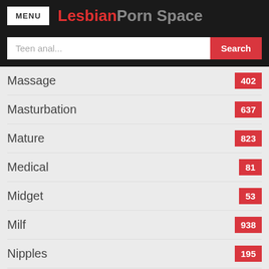LesbianPorn Space
Massage — 402
Masturbation — 637
Mature — 823
Medical — 81
Midget — 53
Milf — 938
Nipples — 195
Nurse — 186
Nylon — 111
Office — 151